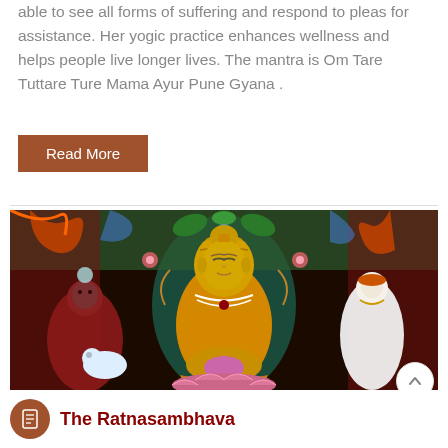able to see all forms of suffering and respond to pleas for assistance. Her yogic practice enhances wellness and helps people live longer lives. The mantra is Om Tare Tuttare Ture Mama Ayur Pune Gyana .
[Figure (illustration): Tibetan Buddhist thangka painting showing a central golden Buddha figure seated in meditation, flanked by two deity figures on a dark background with colorful floral and decorative motifs]
The Ratnasambhava